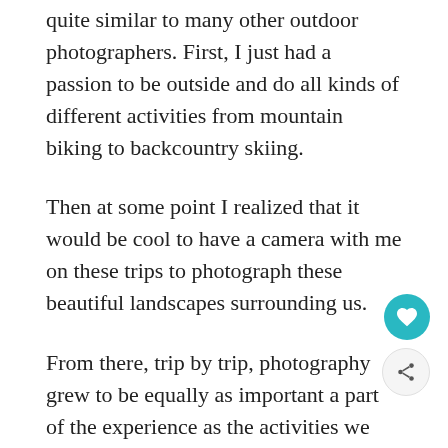quite similar to many other outdoor photographers. First, I just had a passion to be outside and do all kinds of different activities from mountain biking to backcountry skiing.
Then at some point I realized that it would be cool to have a camera with me on these trips to photograph these beautiful landscapes surrounding us.
From there, trip by trip, photography grew to be equally as important a part of the experience as the activities we were doing.
I have been a Sony Alpha Ambassador since 2012 and I use Sony cameras for my work.